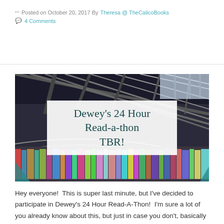Posted on October 20, 2017 By Theresa @ TheCalicoBooks
4 Comments
[Figure (photo): Library shelves photographed from below at an angle, showing curved rows of colorful books. Overlaid with a white box containing the title text 'Dewey's 24 Hour Read-a-thon TBR!' in dark teal cursive/script font.]
Hey everyone!  This is super last minute, but I've decided to participate in Dewey's 24 Hour Read-A-Thon!  I'm sure a lot of you already know about this, but just in case you don't, basically you read whatever you want, as much as you can